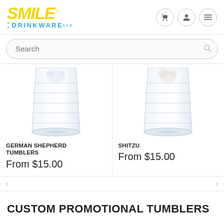[Figure (logo): Smile Drinkware logo with yellow italic SMILE text and blue DRINKWARE text]
Search
[Figure (photo): German Shepherd Tumbler glass product photo]
GERMAN SHEPHERD TUMBLERS
From $15.00
[Figure (photo): Shitzu Tumbler glass product photo]
SHITZU
From $15.00
CUSTOM PROMOTIONAL TUMBLERS